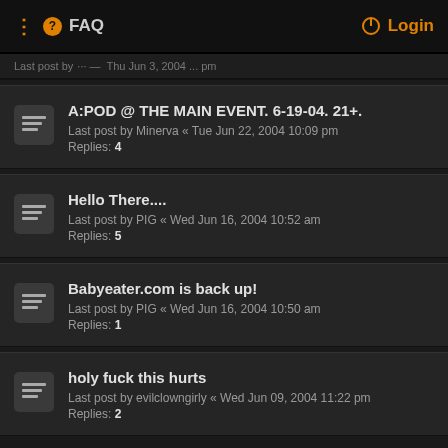FAQ | Login
Last post by ... - ... Jun ..., 2004 ... pm
A:POD @ THE MAIN EVENT. 6-19-04. 21+.
Last post by Minerva « Tue Jun 22, 2004 10:09 pm
Replies: 4
Hello There....
Last post by PIG « Wed Jun 16, 2004 10:52 am
Replies: 5
Babyeater.com is back up!
Last post by PIG « Wed Jun 16, 2004 10:50 am
Replies: 1
holy fuck this hurts
Last post by evilclowngirly « Wed Jun 09, 2004 11:22 pm
Replies: 2